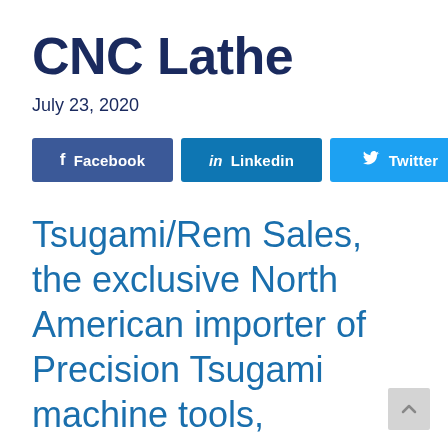CNC Lathe
July 23, 2020
[Figure (infographic): Social sharing buttons for Facebook, Linkedin, and Twitter]
Tsugami/Rem Sales, the exclusive North American importer of Precision Tsugami machine tools,